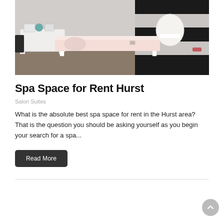[Figure (photo): Interior of a spa room with a white massage table, white desk with accessories, white chair, and black and white striped wall.]
Spa Space for Rent Hurst
Salon Suites
What is the absolute best spa space for rent in the Hurst area? That is the question you should be asking yourself as you begin your search for a spa...
Read More